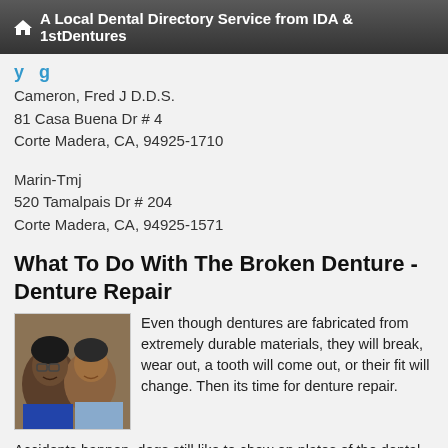A Local Dental Directory Service from IDA & 1stDentures
Cameron, Fred J D.D.S.
81 Casa Buena Dr # 4
Corte Madera, CA, 94925-1710
Marin-Tmj
520 Tamalpais Dr # 204
Corte Madera, CA, 94925-1571
What To Do With The Broken Denture - Denture Repair
[Figure (photo): Photo of a smiling couple, an older woman with glasses and a man]
Even though dentures are fabricated from extremely durable materials, they will break, wear out, a tooth will come out, or their fit will change. Then its time for denture repair.
Accidents happen, dogs still like to chew on plates of the dental... read more
Are Lower Dentures Always A Problem?